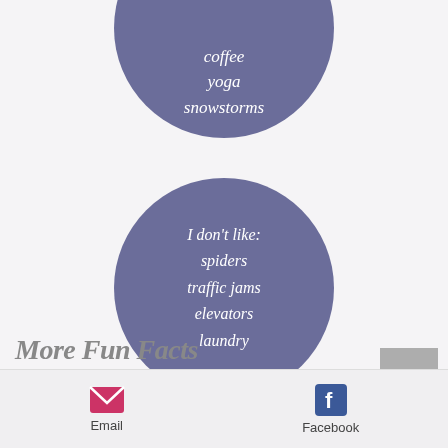[Figure (illustration): Partially visible purple/slate circle at top of page with italic white text listing: coffee, yoga, snowstorms]
[Figure (illustration): Full purple/slate circle in center of page with italic white text: I don't like: spiders, traffic jams, elevators, laundry]
More Fun Facts
Email  Facebook